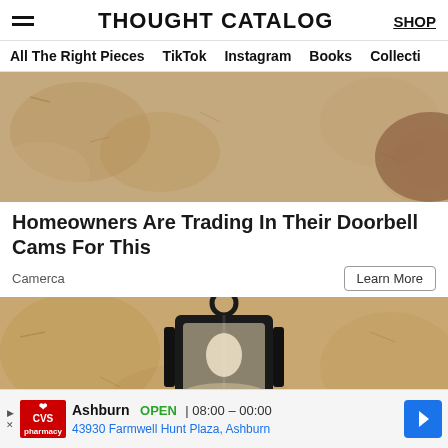THOUGHT CATALOG | SHOP
All The Right Pieces | TikTok | Instagram | Books | Collecti
[Figure (photo): Close-up photo of a security camera mounted on a stucco wall]
Homeowners Are Trading In Their Doorbell Cams For This
Camerca
[Figure (photo): Close-up photo of a black outdoor lantern mounted on a stucco wall]
Ashburn OPEN | 08:00 – 00:00
43930 Farmwell Hunt Plaza, Ashburn